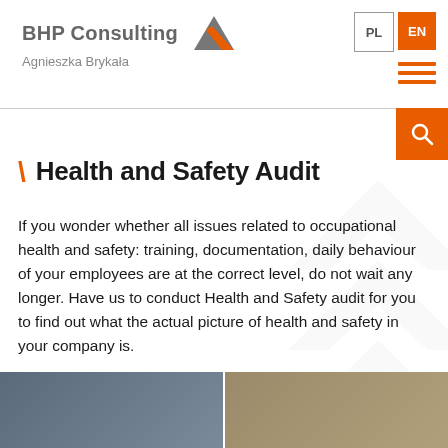BHP Consulting Agnieszka Brykała
Health and Safety Audit
If you wonder whether all issues related to occupational health and safety: training, documentation, daily behaviour of your employees are at the correct level, do not wait any longer. Have us to conduct Health and Safety audit for you to find out what the actual picture of health and safety in your company is.
[Figure (photo): Bottom photo strip showing people in a workplace/meeting setting]